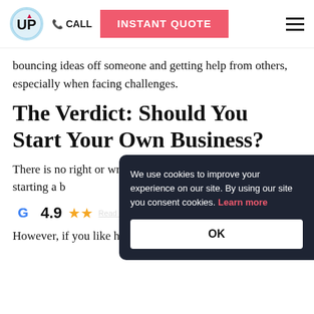UP | CALL | INSTANT QUOTE
bouncing ideas off someone and getting help from others, especially when facing challenges.
The Verdict: Should You Start Your Own Business?
There is no right or wrong answer to the question, "is starting a b...
4.9   Read our 23...
We use cookies to improve your experience on our site. By using our site you consent cookies. Learn more
OK
However, if you like having guidance, enjoy your job